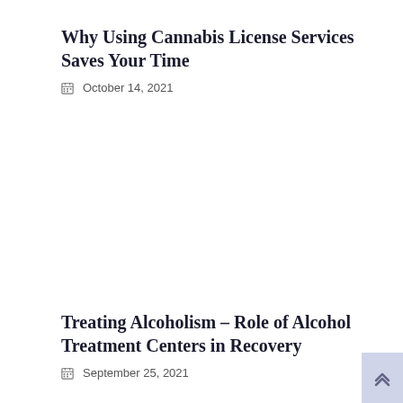Why Using Cannabis License Services Saves Your Time
📅 October 14, 2021
Treating Alcoholism – Role of Alcohol Treatment Centers in Recovery
📅 September 25, 2021